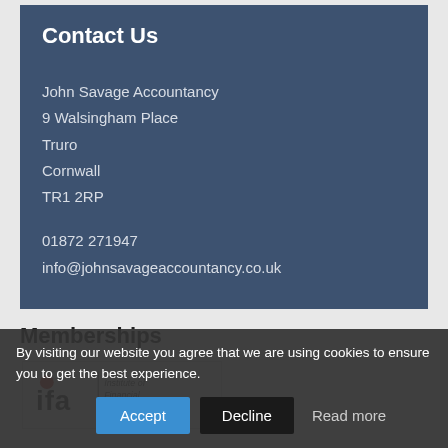Contact Us
John Savage Accountancy
9 Walsingham Place
Truro
Cornwall
TR1 2RP

01872 271947
info@johnsavageaccountancy.co.uk
Memberships
[Figure (logo): IFA – Institute of Financial Accountants, Practising Certificate Holder logo]
By visiting our website you agree that we are using cookies to ensure you to get the best experience.